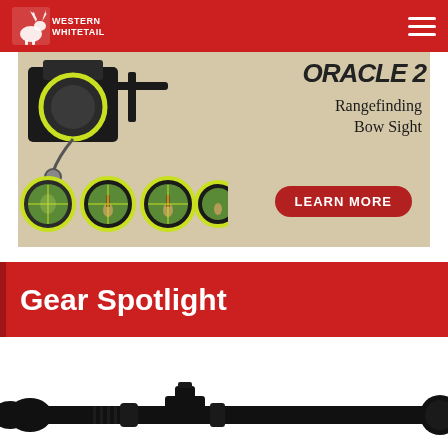Western Whitetail
[Figure (photo): Oracle 2 Rangefinding Bow Sight advertisement banner with bow sight device, multiple scope views showing deer, and a LEARN MORE button]
Gear Spotlight
[Figure (photo): Partial view of a rifle scope (black) at the bottom of the page]